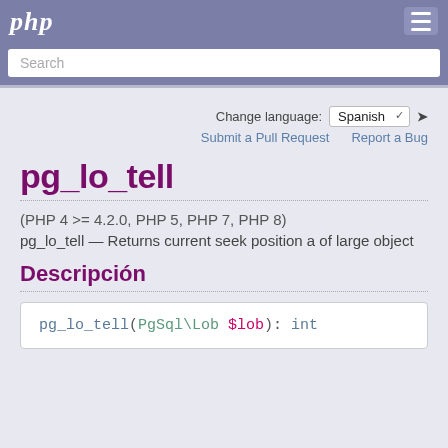php
Search
Change language: Spanish
Submit a Pull Request   Report a Bug
pg_lo_tell
(PHP 4 >= 4.2.0, PHP 5, PHP 7, PHP 8)
pg_lo_tell — Returns current seek position a of large object
Descripción
pg_lo_tell(PgSql\Lob $lob): int